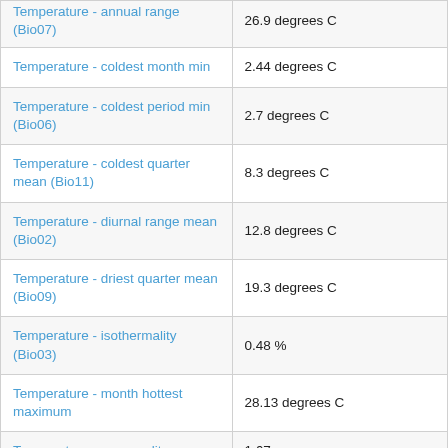| Variable | Value |
| --- | --- |
| Temperature - annual range (Bio07) | 26.9 degrees C |
| Temperature - coldest month min | 2.44 degrees C |
| Temperature - coldest period min (Bio06) | 2.7 degrees C |
| Temperature - coldest quarter mean (Bio11) | 8.3 degrees C |
| Temperature - diurnal range mean (Bio02) | 12.8 degrees C |
| Temperature - driest quarter mean (Bio09) | 19.3 degrees C |
| Temperature - isothermality (Bio03) | 0.48 % |
| Temperature - month hottest maximum | 28.13 degrees C |
| Temperature - seasonality | 1.67 |